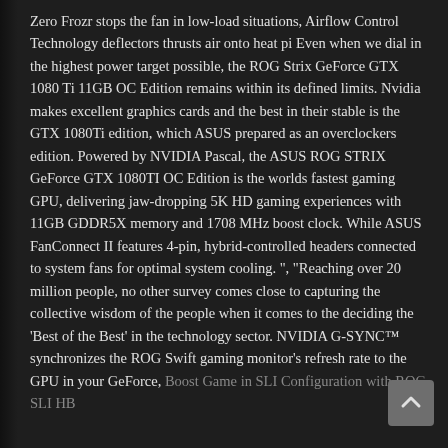Zero Frozr stops the fan in low-load situations, Airflow Control Technology deflectors thrusts air onto heat pi Even when we dial in the highest power target possible, the ROG Strix GeForce GTX 1080 Ti 11GB OC Edition remains within its defined limits. Nvidia makes excellent graphics cards and the best in their stable is the GTX 1080Ti edition, which ASUS prepared as an overclockers edition. Powered by NVIDIA Pascal, the ASUS ROG STRIX GeForce GTX 1080TI OC Edition is the worlds fastest gaming GPU, delivering jaw-dropping 5K HD gaming experiences with 11GB GDDR5X memory and 1708 MHz boost clock. While ASUS FanConnect II features 4-pin, hybrid-controlled headers connected to system fans for optimal system cooling. ", "Reaching over 20 million people, no other survey comes close to capturing the collective wisdom of the people when it comes to the deciding the 'Best of the Best' in the technology sector. NVIDIA G-SYNC™ synchronizes the ROG Swift gaming monitor's refresh rate to the GPU in your GeForce, Boost Game in SLI Configuration with ROG SLI HB...